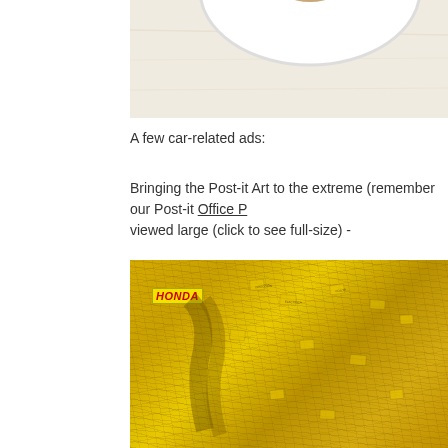[Figure (photo): Top portion of a photo showing a white plate with food on a light wood surface, partially cropped]
A few car-related ads:
Bringing the Post-it Art to the extreme (remember our Post-it Office P... viewed large (click to see full-size) -
[Figure (photo): Honda advertisement made entirely of yellow Post-it notes arranged to form a car shape. The Honda logo is visible in red at top left. The image shows thousands of yellow Post-it notes with text written on them forming a mosaic/sculpture.]